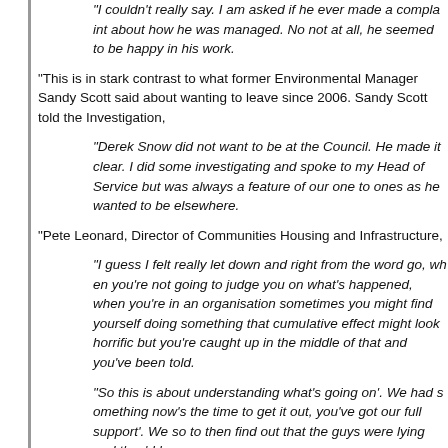“I couldn’t really say. I am asked if he ever made a complaint about how he was managed. No not at all, he seemed to be happy in his work.
“This is in stark contrast to what former Environmental Manager Sandy Scott said about wanting to leave since 2006. Sandy Scott told the Investigation,
“Derek Snow did not want to be at the Council. He made it clear. I did some investigating and spoke to my Head of Service but was always a feature of our one to ones as he wanted to be elsewhere.
“Pete Leonard, Director of Communities Housing and Infrastructure,
“I guess I felt really let down and right from the word go, when you’re not going to judge you on what’s happened, when you’re in an organisation sometimes you might find yourself doing something that cumulative effect might look horrific but you’re caught up in the middle of that and you’ve been told.
“So this is about understanding what’s going on’. We had s now’s the time to get it out, you’ve got our full support’. We so to then find out that the guys were lying and they’d been